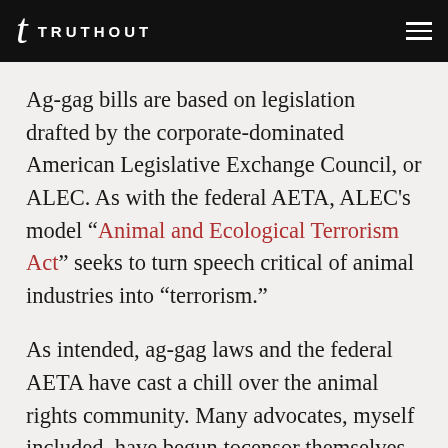TRUTHOUT
Ag-gag bills are based on legislation drafted by the corporate-dominated American Legislative Exchange Council, or ALEC. As with the federal AETA, ALEC’s model “Animal and Ecological Terrorism Act” seeks to turn speech critical of animal industries into “terrorism.”
As intended, ag-gag laws and the federal AETA have cast a chill over the animal rights community. Many advocates, myself included, have begun tocensor themselves and refrain